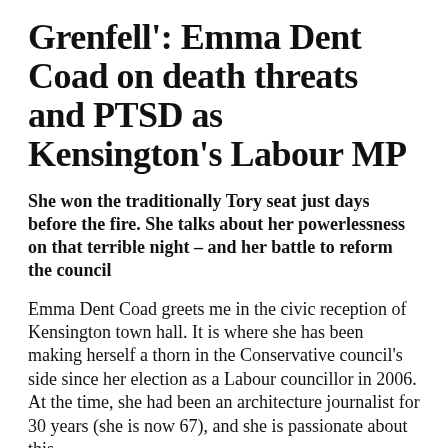Grenfell': Emma Dent Coad on death threats and PTSD as Kensington's Labour MP
She won the traditionally Tory seat just days before the fire. She talks about her powerlessness on that terrible night – and her battle to reform the council
Emma Dent Coad greets me in the civic reception of Kensington town hall. It is where she has been making herself a thorn in the Conservative council's side since her election as a Labour councillor in 2006. At the time, she had been an architecture journalist for 30 years (she is now 67), and she is passionate about this